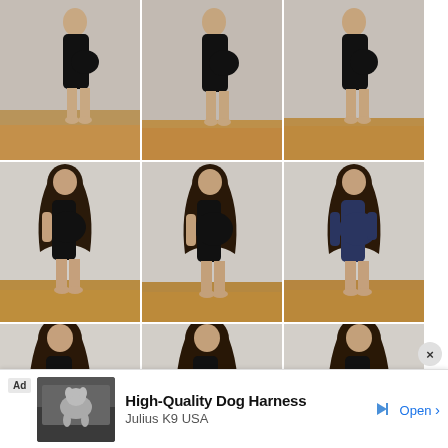[Figure (photo): 3x3 grid of pregnancy progression photos. Top row: side-profile shots of a woman in a black dress with a slight baby bump, lighter background and wooden floor. Middle row: same woman with longer dark curly hair, more visible baby bump in black dress and then navy blue dress. Bottom row: partially cropped photos of the same woman from the back/side, larger bump visible.]
[Figure (screenshot): Advertisement banner at the bottom of the page. Shows a photo of a dog, text 'High-Quality Dog Harness', 'Julius K9 USA', and an 'Open' button with arrow. An 'X' close button is visible on the right.]